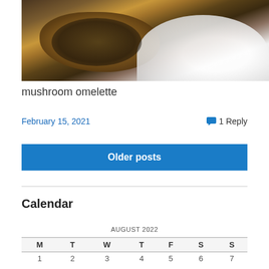[Figure (photo): Close-up photo of a mushroom omelette on a white plate on a wooden table]
mushroom omelette
February 15, 2021   1 Reply
Older posts
Calendar
| M | T | W | T | F | S | S |
| --- | --- | --- | --- | --- | --- | --- |
| 1 | 2 | 3 | 4 | 5 | 6 | 7 |